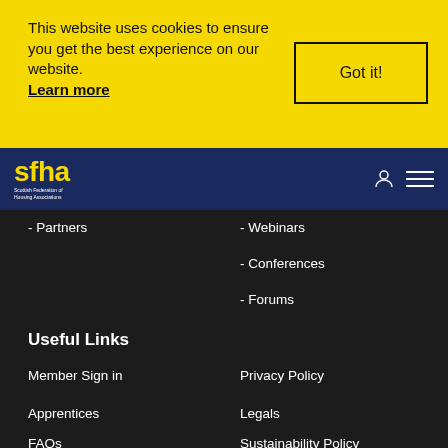This website uses cookies to ensure you get the best experience on our website.
Learn more
Got it!
[Figure (logo): SFHA - Scottish Federation of Housing Associations logo in yellow on dark blue background]
- Partners
- Webinars
- Conferences
- Forums
Useful Links
Member Sign in
Privacy Policy
Apprentices
Legals
FAQs
Sustainability Policy